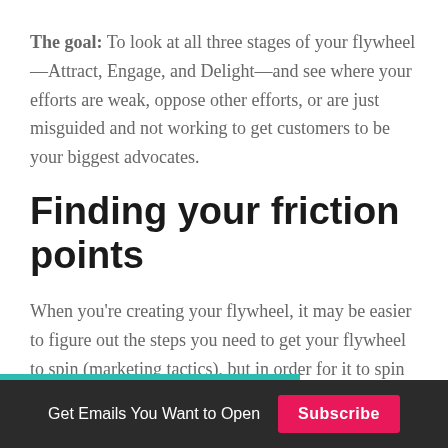The goal: To look at all three stages of your flywheel—Attract, Engage, and Delight—and see where your efforts are weak, oppose other efforts, or are just misguided and not working to get customers to be your biggest advocates.
Finding your friction points
When you're creating your flywheel, it may be easier to figure out the steps you need to get your flywheel to spin (marketing tactics), but in order for it to spin
Get Emails You Want to Open  Subscribe